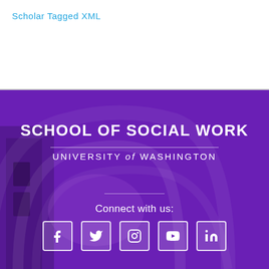Scholar Tagged XML
[Figure (logo): School of Social Work, University of Washington logo with purple background showing SCHOOL OF SOCIAL WORK / UNIVERSITY of WASHINGTON text, decorative building arcs, a horizontal divider, 'Connect with us:' text, and five social media icons: Facebook, Twitter, Instagram, YouTube, LinkedIn]